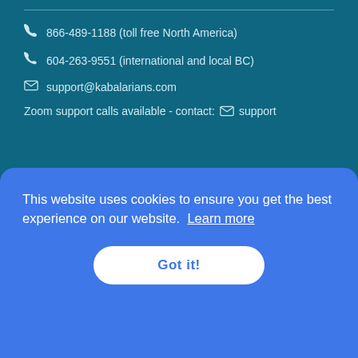866-489-1188 (toll free North America)
604-263-9551 (international and local BC)
support@kabalarians.com
Zoom support calls available - contact: support
JOIN WEEKLY NEWSLETTER LIST
This website uses cookies to ensure you get the best experience on our website. Learn more
Got it!